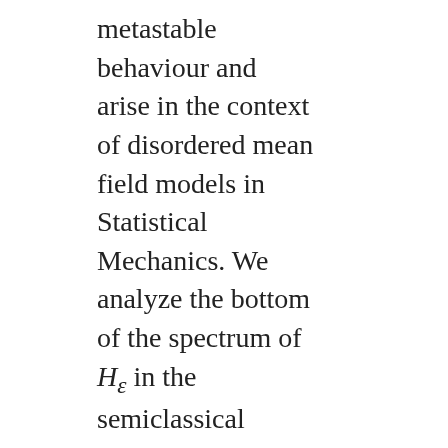metastable behaviour and arise in the context of disordered mean field models in Statistical Mechanics. We analyze the bottom of the spectrum of H_ε in the semiclassical regime \varepsilon\ll1 and show that there is a one-to-one correspondence between exponentially small eigenvalues and